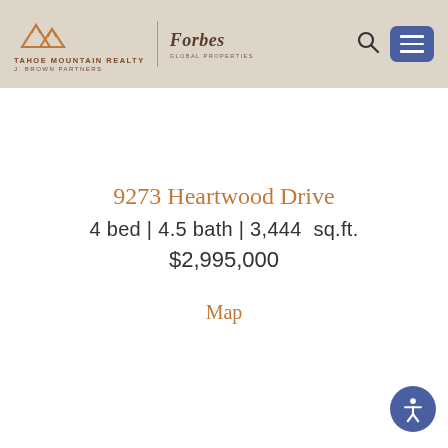Tahoe Mountain Realty | J. Brown Partners | Forbes Global Properties
9273 Heartwood Drive
4 bed | 4.5 bath | 3,444 sq.ft.
$2,995,000
Map